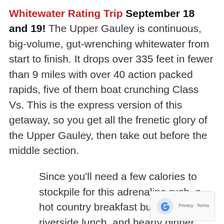Whitewater Rating Trip September 18 and 19! The Upper Gauley is continuous, big-volume, gut-wrenching whitewater from start to finish. It drops over 335 feet in fewer than 9 miles with over 40 action packed rapids, five of them boat crunching Class Vs. This is the express version of this getaway, so you get all the frenetic glory of the Upper Gauley, then take out before the middle section.
Since you'll need a few calories to stockpile for this adrenaline rush, a hot country breakfast buffet, hot riverside lunch, and hearty dinner buffet, plus two nights of lodging of your choice to your one-day
[Figure (logo): reCAPTCHA badge with Privacy - Terms text]